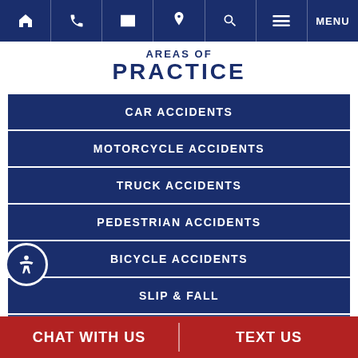Navigation bar with home, phone, email, location, search, menu icons and MENU label
AREAS OF PRACTICE
CAR ACCIDENTS
MOTORCYCLE ACCIDENTS
TRUCK ACCIDENTS
PEDESTRIAN ACCIDENTS
BICYCLE ACCIDENTS
SLIP & FALL
TRAUMATIC BRAIN INJURY
CHAT WITH US | TEXT US